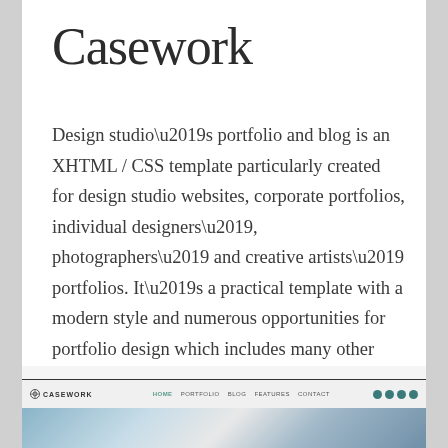Casework
Design studio’s portfolio and blog is an XHTML / CSS template particularly created for design studio websites, corporate portfolios, individual designers’, photographers’ and creative artists’ portfolios. It’s a practical template with a modern style and numerous opportunities for portfolio design which includes many other useful features as well.
[Figure (screenshot): Screenshot of the Casework website showing a navigation bar with logo, menu links (HOME, PORTFOLIO, BLOG, FEATURES, CONTACT), social media icons, and partial view of a photo below.]